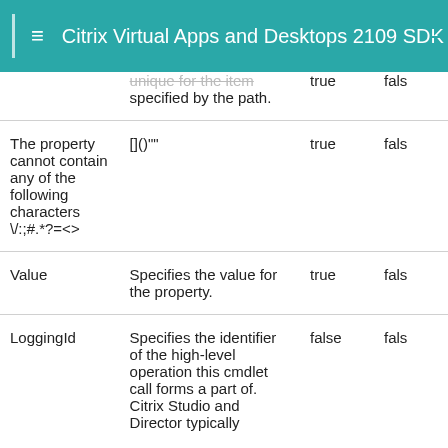Citrix Virtual Apps and Desktops 2109 SDK D
| Parameter | Description | Required? | Pipeline Input |
| --- | --- | --- | --- |
|  | unique for the item specified by the path. | true | fals |
| The property cannot contain any of the following characters \/:;#.*?=<> | []()"" | true | fals |
| Value | Specifies the value for the property. | true | fals |
| LoggingId | Specifies the identifier of the high-level operation this cmdlet call forms a part of. Citrix Studio and Director typically | false | fals |